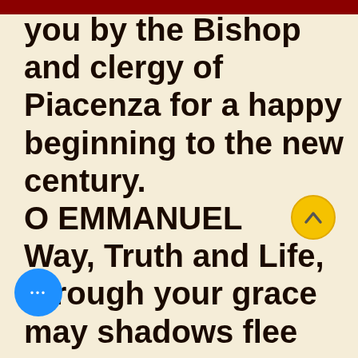you by the Bishop and clergy of Piacenza for a happy beginning to the new century. O EMMANUEL Way, Truth and Life, through your grace may shadows flee may your sweetest light shine forth in